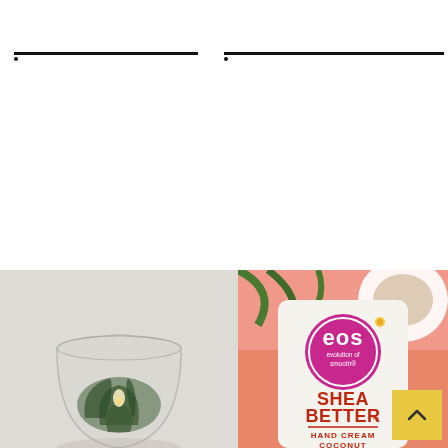[Figure (photo): Two horizontal dark lines with small marker dots below them — left line spanning roughly left quarter of page, right line spanning right half of page — on a white background]
[Figure (photo): Left half: photo of a clear glass votive/hurricane candle holder with green plant/succulent visible through glass on a light gray background. Right half: EOS Shea Better Hand Cream Coconut product tube with magenta/pink EOS logo circle reading 'eos evolution of smooth' and bold red text reading 'SHEA BETTER HAND CREAM COCONUT' on a peachy-coral background with coconut imagery.]